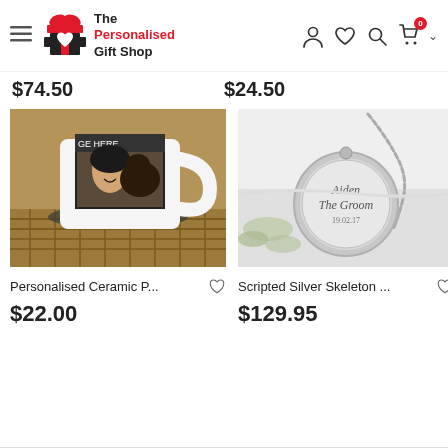The Personalised Gift Shop
$74.50
$24.50
[Figure (photo): A personalised ceramic photo mug with a picture of a woman and a dog, placed on a wicker surface.]
[Figure (photo): A scripted silver skeleton pocket watch engraved with 'Aiden The Groom' and a date, on a white background with foliage.]
Personalised Ceramic P...
Scripted Silver Skeleton ...
$22.00
$129.95